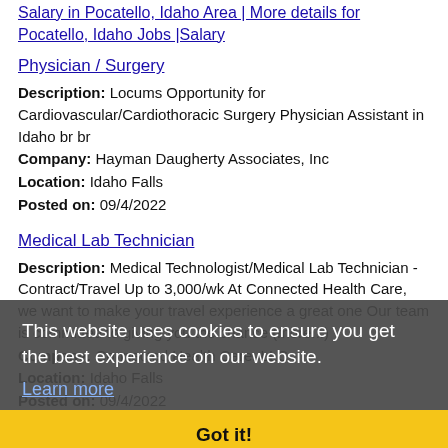Salary in Pocatello, Idaho Area | More details for Pocatello, Idaho Jobs |Salary
Physician / Surgery
Description: Locums Opportunity for Cardiovascular/Cardiothoracic Surgery Physician Assistant in Idaho br br
Company: Hayman Daugherty Associates, Inc
Location: Idaho Falls
Posted on: 09/4/2022
Medical Lab Technician
Description: Medical Technologist/Medical Lab Technician - Contract/Travel Up to 3,000/wk At Connected Health Care, we want to make your travel experience a great one Our team is committed to giving you the chance (more...)
Company: Connected Health Care, LLC
Location: Idaho Falls
Posted on: 09/4/2022
Cashier
Description: Cashier CASHIER/GREETER Know what its like to be in the stadium on game day Then you know what its like to work at Buffalo Wild Wings. Its fun. Its fast-paced. Were at the top of our
This website uses cookies to ensure you get the best experience on our website. Learn more Got it!